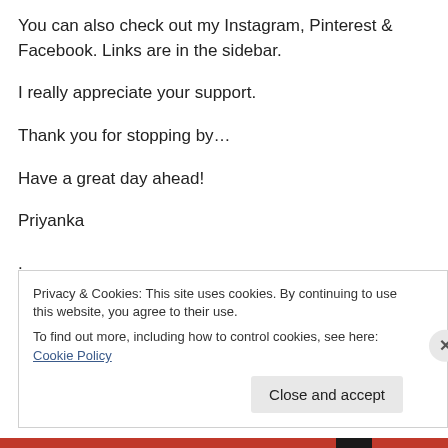You can also check out my Instagram, Pinterest & Facebook. Links are in the sidebar.
I really appreciate your support.
Thank you for stopping by…
Have a great day ahead!
Priyanka
.
.
Privacy & Cookies: This site uses cookies. By continuing to use this website, you agree to their use. To find out more, including how to control cookies, see here: Cookie Policy
Close and accept